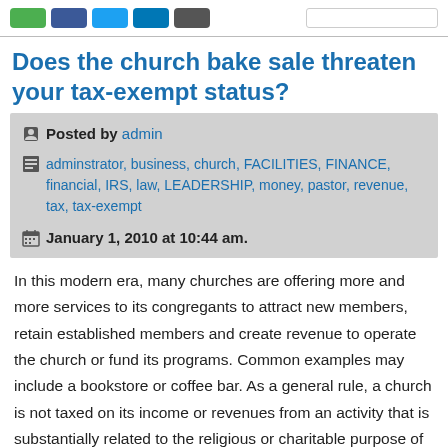[social share buttons and search bar]
Does the church bake sale threaten your tax-exempt status?
Posted by admin
adminstrator, business, church, FACILITIES, FINANCE, financial, IRS, law, LEADERSHIP, money, pastor, revenue, tax, tax-exempt
January 1, 2010 at 10:44 am.
In this modern era, many churches are offering more and more services to its congregants to attract new members, retain established members and create revenue to operate the church or fund its programs. Common examples may include a bookstore or coffee bar. As a general rule, a church is not taxed on its income or revenues from an activity that is substantially related to the religious or charitable purpose of the organization.